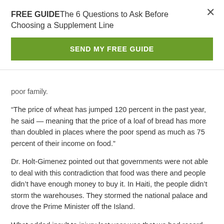FREE GUIDE The 6 Questions to Ask Before Choosing a Supplement Line
SEND MY FREE GUIDE
poor family.
“The price of wheat has jumped 120 percent in the past year, he said — meaning that the price of a loaf of bread has more than doubled in places where the poor spend as much as 75 percent of their income on food.”
Dr. Holt-Gimenez pointed out that governments were not able to deal with this contradiction that food was there and people didn’t have enough money to buy it. In Haiti, the people didn’t storm the warehouses. They stormed the national palace and drove the Prime Minister off the Island.
What added insult to injury last year was that we had record levels of harvest and at the same time record levels of hunger. We also had record profits in corporations who are part of the monopolies that